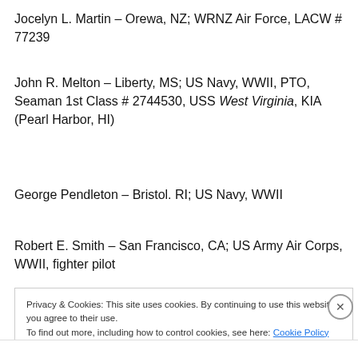Jocelyn L. Martin – Orewa, NZ; WRNZ Air Force, LACW # 77239
John R. Melton – Liberty, MS; US Navy, WWII, PTO, Seaman 1st Class # 2744530, USS West Virginia, KIA (Pearl Harbor, HI)
George Pendleton – Bristol. RI; US Navy, WWII
Robert E. Smith – San Francisco, CA; US Army Air Corps, WWII, fighter pilot
Privacy & Cookies: This site uses cookies. By continuing to use this website, you agree to their use. To find out more, including how to control cookies, see here: Cookie Policy